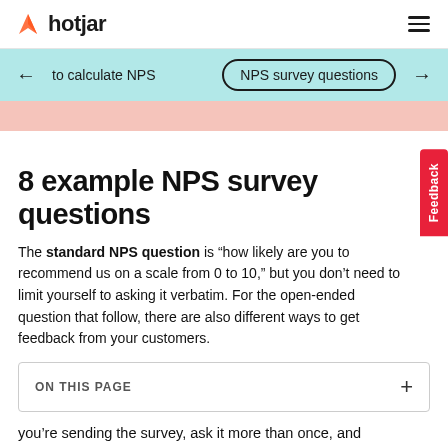hotjar
to calculate NPS  |  NPS survey questions
8 example NPS survey questions
The standard NPS question is “how likely are you to recommend us on a scale from 0 to 10,” but you don’t need to limit yourself to asking it verbatim. For the open-ended question that follow, there are also different ways to get feedback from your customers.
ON THIS PAGE
you’re sending the survey, ask it more than once, and